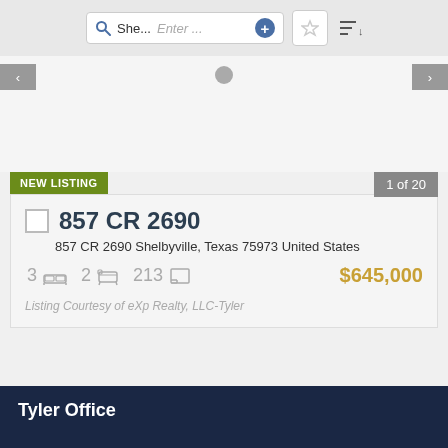She... Enter ... search bar with filter controls
857 CR 2690
857 CR 2690 Shelbyville, Texas 75973 United States
3 bedrooms  2 bathrooms  213 sqft  $645,000
Listing Courtesy of eXp Realty, LLC-Tyler
Tyler Office